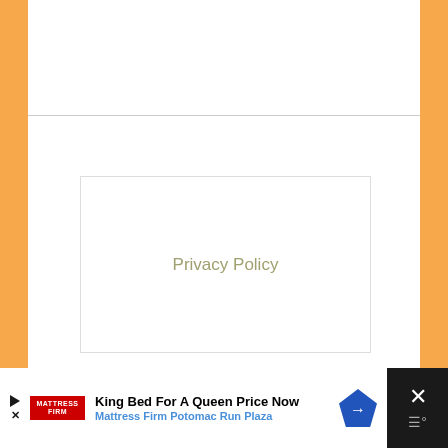Privacy Policy
Copyright Carrots for Michaelmas © 2022 · Design and Development by Santa Clara Design · Log in
Exclusive Member of Mediavine Family
[Figure (screenshot): Advertisement banner for Mattress Firm Potomac Run Plaza: 'King Bed For A Queen Price Now']